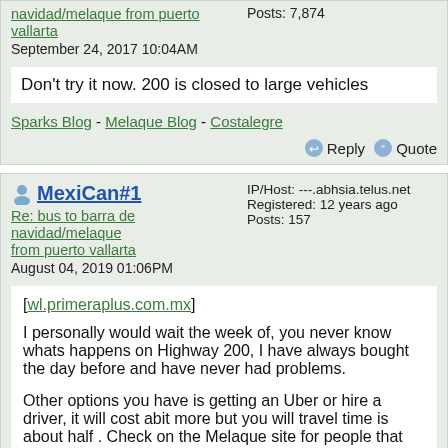navidad/melaque from puerto vallarta
September 24, 2017 10:04AM
Posts: 7,874
Don't try it now. 200 is closed to large vehicles
Sparks Blog - Melaque Blog - Costalegre
Reply  Quote
MexiCan#1
Re: bus to barra de navidad/melaque from puerto vallarta
August 04, 2019 01:06PM
IP/Host: ---.abhsia.telus.net
Registered: 12 years ago
Posts: 157
[wl.primeraplus.com.mx]
I personally would wait the week of, you never know whats happens on Highway 200, I have always bought the day before and have never had problems.
Other options you have is getting an Uber or hire a driver, it will cost abit more but you will travel time is about half . Check on the Melaque site for people that will drive you to Barra Miction...